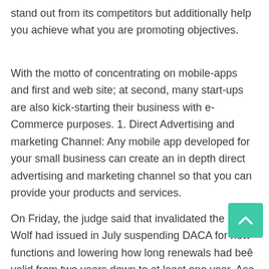stand out from its competitors but additionally help you achieve what you are promoting objectives.
With the motto of concentrating on mobile-apps and first and web site; at second, many start-ups are also kick-starting their business with e-Commerce purposes. 1. Direct Advertising and marketing Channel: Any mobile app developed for your small business can create an in depth direct advertising and marketing channel so that you can provide your products and services.
On Friday, the judge said that invalidated the memo Wolf had issued in July suspending DACA for new functions and lowering how long renewals had been valid from two years down to at least one year. As a structural engineer or builder, you have to discover the true potential of FRP composites in numerous